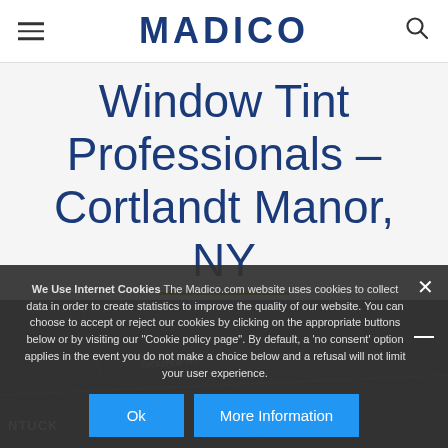MADICO
Window Tint Professionals - Cortlandt Manor, NY
[Figure (map): Street map showing Cortlandt Manor, NY area with dark overlay, showing road labels including Tuckahoe Rd and area label NTUCK]
We Use Internet Cookies The Madico.com website uses cookies to collect data in order to create statistics to improve the quality of our website. You can choose to accept or reject our cookies by clicking on the appropriate buttons below or by visiting our "Cookie policy page". By default, a 'no consent' option applies in the event you do not make a choice below and a refusal will not limit your user experience.